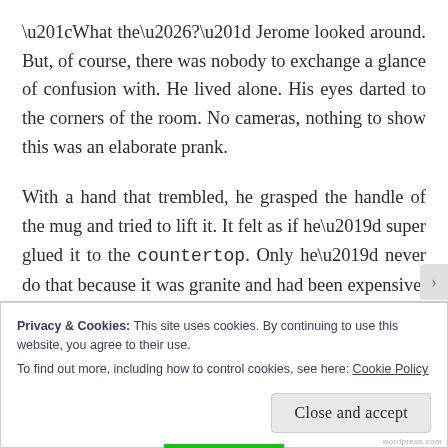“What the…?” Jerome looked around. But, of course, there was nobody to exchange a glance of confusion with. He lived alone. His eyes darted to the corners of the room. No cameras, nothing to show this was an elaborate prank.
With a hand that trembled, he grasped the handle of the mug and tried to lift it. It felt as if he’d super glued it to the countertop. Only he’d never do that because it was granite and had been expensive. He raised an eyebrow at the mug.
Privacy & Cookies: This site uses cookies. By continuing to use this website, you agree to their use.
To find out more, including how to control cookies, see here: Cookie Policy